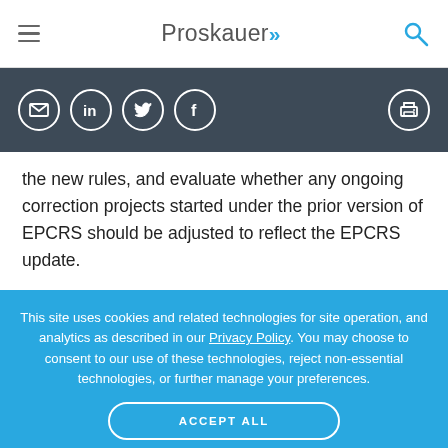Proskauer
the new rules, and evaluate whether any ongoing correction projects started under the prior version of EPCRS should be adjusted to reflect the EPCRS update.
This site uses cookies and related technologies for site operation, and analytics as described in our Privacy Policy. You may choose to consent to our use of these technologies, reject non-essential technologies, or further manage your preferences.
ACCEPT ALL
DECLINE ALL
MANAGE SETTINGS